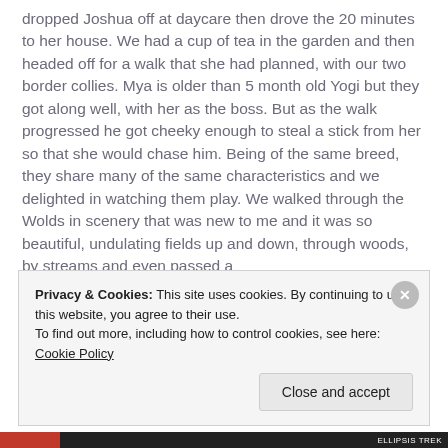dropped Joshua off at daycare then drove the 20 minutes to her house. We had a cup of tea in the garden and then headed off for a walk that she had planned, with our two border collies. Mya is older than 5 month old Yogi but they got along well, with her as the boss. But as the walk progressed he got cheeky enough to steal a stick from her so that she would chase him. Being of the same breed, they share many of the same characteristics and we delighted in watching them play. We walked through the Wolds in scenery that was new to me and it was so beautiful, undulating fields up and down, through woods, by streams and even passed a
Privacy & Cookies: This site uses cookies. By continuing to use this website, you agree to their use.
To find out more, including how to control cookies, see here: Cookie Policy
Close and accept